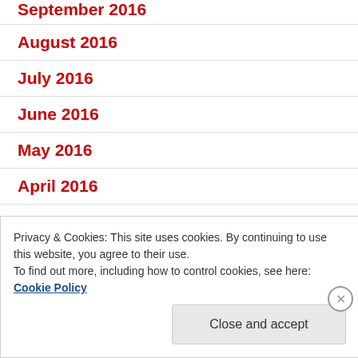September 2016
August 2016
July 2016
June 2016
May 2016
April 2016
March 2016
February 2016
Privacy & Cookies: This site uses cookies. By continuing to use this website, you agree to their use.
To find out more, including how to control cookies, see here: Cookie Policy
Close and accept